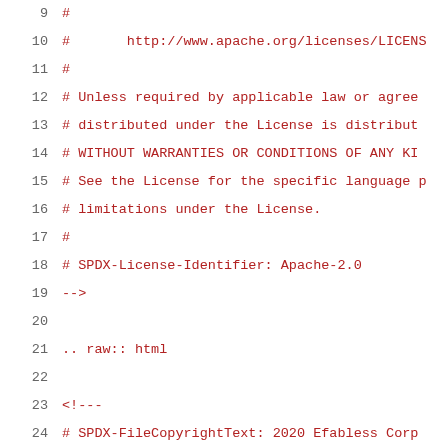9     #
10    #       http://www.apache.org/licenses/LICENS
11    #
12    # Unless required by applicable law or agree
13    # distributed under the License is distribut
14    # WITHOUT WARRANTIES OR CONDITIONS OF ANY KI
15    # See the License for the specific language p
16    # limitations under the License.
17    #
18    # SPDX-License-Identifier: Apache-2.0
19    -->
20
21    .. raw:: html
22
23    <!---
24    # SPDX-FileCopyrightText: 2020 Efabless Corp
25    #
26    # Licensed under the Apache License, Version
27    # you may not use this file except in compli
28    # You may obtain a copy of the License at
29    #
30    #       http://www.apache.org/licenses/LICENS